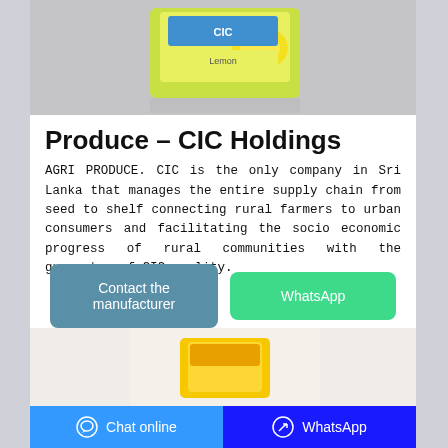[Figure (photo): Product photo of CIC lemon-flavored washing powder/soap in green and yellow packaging on a gray background]
Produce – CIC Holdings
AGRI PRODUCE. CIC is the only company in Sri Lanka that manages the entire supply chain from seed to shelf connecting rural farmers to urban consumers and facilitating the socio economic progress of rural communities with the guarantee of CIC quality.
[Figure (other): Two action buttons: 'Contact the manufacturer' (blue-gray) and 'WhatsApp' (green)]
[Figure (photo): Partial photo of another CIC product in yellow packaging on white background]
Chat online   WhatsApp